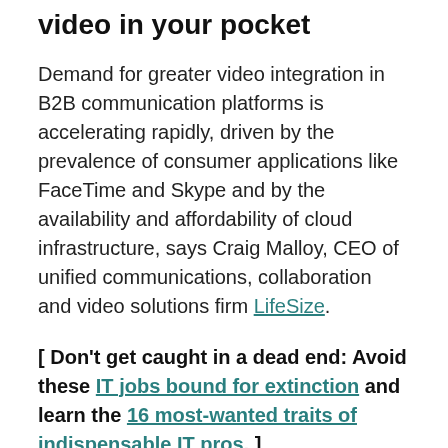video in your pocket
Demand for greater video integration in B2B communication platforms is accelerating rapidly, driven by the prevalence of consumer applications like FaceTime and Skype and by the availability and affordability of cloud infrastructure, says Craig Malloy, CEO of unified communications, collaboration and video solutions firm LifeSize.
[ Don't get caught in a dead end: Avoid these IT jobs bound for extinction and learn the 16 most-wanted traits of indispensable IT pros. ]
“Video used to require massive on-site infrastructure and dedicated real-estate in a data center. It used to